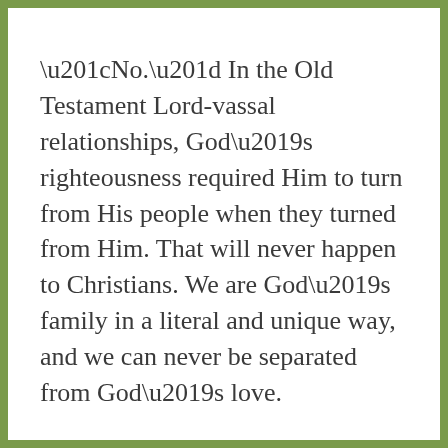“No.” In the Old Testament Lord-vassal relationships, God’s righteousness required Him to turn from His people when they turned from Him. That will never happen to Christians. We are God’s family in a literal and unique way, and we can never be separated from God’s love.

The “birth” in the Christian’s New Birth is not just a metaphor. It is a